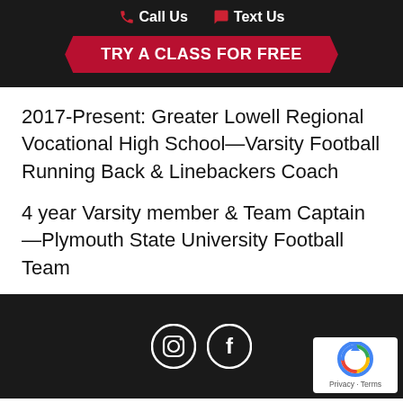Call Us   Text Us
TRY A CLASS FOR FREE
2017-Present: Greater Lowell Regional Vocational High School—Varsity Football Running Back & Linebackers Coach
4 year Varsity member & Team Captain—Plymouth State University Football Team
[Figure (other): Social media icons: Instagram and Facebook circular icons in footer]
[Figure (other): Google reCAPTCHA badge with Privacy and Terms links]